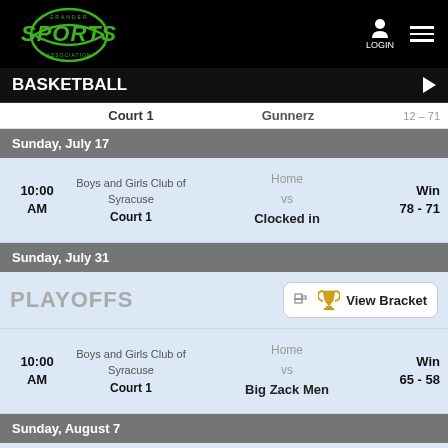SPORTS — LOGIN
BASKETBALL
Court 1  Gunnerz
Sunday, July 17
| Time | Venue | Matchup | Result |
| --- | --- | --- | --- |
| 10:00 AM | Boys and Girls Club of Syracuse
Court 1 | Home vs Clocked in | Win 78 - 71 |
Sunday, July 31
PLAYOFFS  View Bracket
| Time | Venue | Matchup | Result |
| --- | --- | --- | --- |
| 10:00 AM | Boys and Girls Club of Syracuse
Court 1 | Home vs Big Zack Men | Win 65 - 58 |
Sunday, August 7
PLAYOFFS  View Bracket